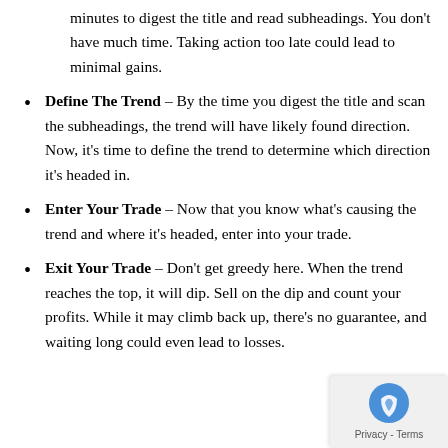minutes to digest the title and read subheadings. You don’t have much time. Taking action too late could lead to minimal gains.
Define The Trend – By the time you digest the title and scan the subheadings, the trend will have likely found direction. Now, it’s time to define the trend to determine which direction it’s headed in.
Enter Your Trade – Now that you know what’s causing the trend and where it’s headed, enter into your trade.
Exit Your Trade – Don’t get greedy here. When the trend reaches the top, it will dip. Sell on the dip and count your profits. While it may climb back up, there’s no guarantee, and waiting long could even lead to losses.